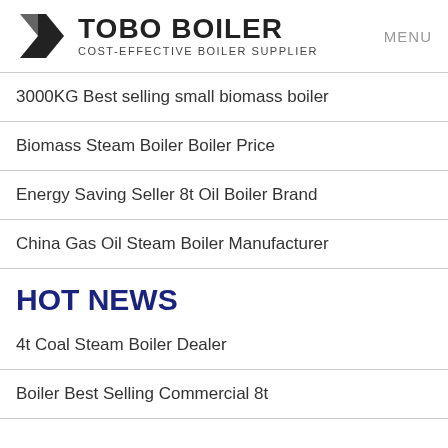TOBO BOILER COST-EFFECTIVE BOILER SUPPLIER MENU
3000KG Best selling small biomass boiler
Biomass Steam Boiler Boiler Price
Energy Saving Seller 8t Oil Boiler Brand
China Gas Oil Steam Boiler Manufacturer
HOT NEWS
4t Coal Steam Boiler Dealer
Boiler Best Selling Commercial 8t